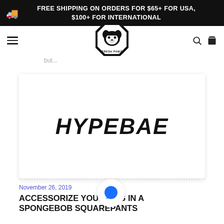FREE SHIPPING ON ORDERS FOR $65+ FOR USA, $100+ FOR INTERNATIONAL
[Figure (logo): Fresh Pawz logo - octagon with dog face wearing a cap, text FRESH PAWZ below]
Most of us wish to have a dog as a pet. While only few of us get the chance to keep one. Usually, keeping a dog requires a lot of time and efforts. It may seem difficult in the beginning but...
[Figure (logo): HYPEBAE text logo in bold italic uppercase]
November 26, 2019
ACCESSORIZE YOUR DOG IN A SPONGEBOB SQUAREPANTS